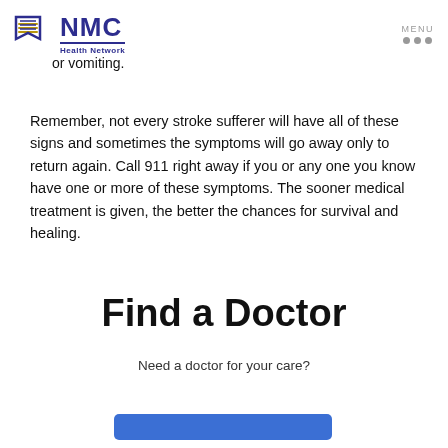NMC Health Network | MENU
or vomiting.
Remember, not every stroke sufferer will have all of these signs and sometimes the symptoms will go away only to return again. Call 911 right away if you or any one you know have one or more of these symptoms. The sooner medical treatment is given, the better the chances for survival and healing.
Find a Doctor
Need a doctor for your care?